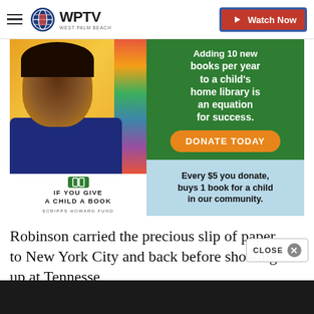WPTV West Palm Beach — Watch Now
[Figure (infographic): Scripps Howard Fund 'If You Give a Child a Book' advertisement. Shows a smiling child with books, green background with text 'Adding 10 new books per year to a child's home library is an equation for success.' with a DONATE TODAY button. Light blue section: 'Every $5 you donate, buys 1 book for a child in our community.']
Robinson carried the precious slip of paper to New York City and back before showing up at Tennesse
[Figure (other): Close button overlay in bottom right corner]